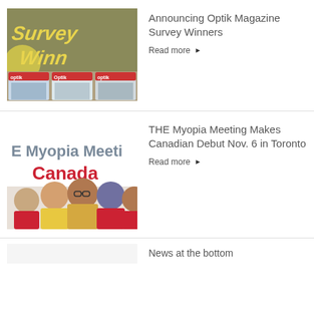[Figure (illustration): Optik Magazine Survey Winners thumbnail showing magazine covers on olive green background with bold yellow italic text 'Survey Winn' and several magazine covers below]
Announcing Optik Magazine Survey Winners
Read more ▶
[Figure (illustration): The Myopia Meeting Canada thumbnail with grey text 'E Myopia Meeti' and red text 'Canada', with a group of children wearing glasses below]
THE Myopia Meeting Makes Canadian Debut Nov. 6 in Toronto
Read more ▶
News at the bottom (partially visible)